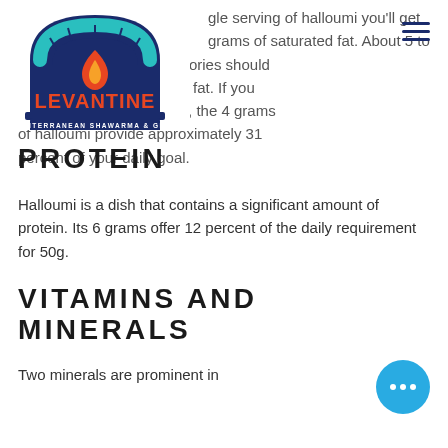[Figure (logo): Levantine Mediterranean Shawarma & Grill logo with arch/oven shape in navy and teal, flame icon, and red text LEVANTINE]
gle serving of halloumi you'll get grams of saturated fat. About 5 to 6 percent of your daily calories should be derived from saturated fat. If you follow a 2,000-calorie diet, the 4 grams of halloumi provide approximately 31 percent of your daily goal.
PROTEIN
Halloumi is a dish that contains a significant amount of protein. Its 6 grams offer 12 percent of the daily requirement for 50g.
VITAMINS AND MINERALS
Two minerals are prominent in